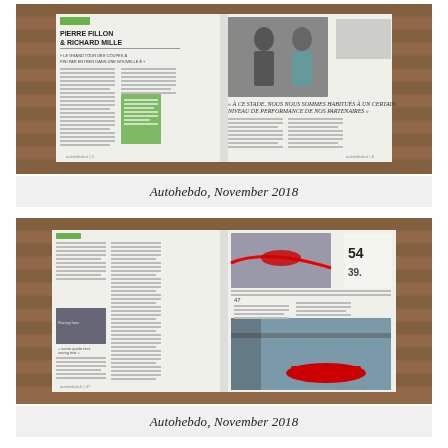[Figure (photo): Open magazine spread on a wooden slatted table showing a feature article with 'Pierre Fillon & Richard Mille' headline, columns of text, green sidebar, and a photo of two men]
Autohebdo, November 2018
[Figure (photo): Open magazine spread on a wooden slatted table showing an article with racing car photographs including a Formula 1 car and racing circuit images]
Autohebdo, November 2018